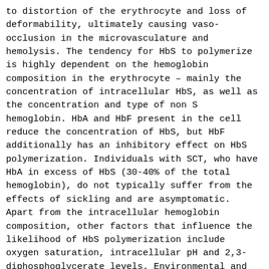to distortion of the erythrocyte and loss of deformability, ultimately causing vaso-occlusion in the microvasculature and hemolysis. The tendency for HbS to polymerize is highly dependent on the hemoglobin composition in the erythrocyte – mainly the concentration of intracellular HbS, as well as the concentration and type of non S hemoglobin. HbA and HbF present in the cell reduce the concentration of HbS, but HbF additionally has an inhibitory effect on HbS polymerization. Individuals with SCT, who have HbA in excess of HbS (30-40% of the total hemoglobin), do not typically suffer from the effects of sickling and are asymptomatic. Apart from the intracellular hemoglobin composition, other factors that influence the likelihood of HbS polymerization include oxygen saturation, intracellular pH and 2,3-diphosphoglycerate levels. Environmental and co-inherited genetic factors can change these